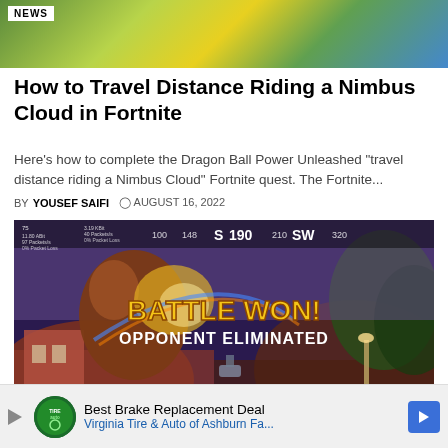[Figure (photo): News article top banner image showing colorful balloons (yellow, blue, green) with NEWS badge overlay]
How to Travel Distance Riding a Nimbus Cloud in Fortnite
Here's how to complete the Dragon Ball Power Unleashed "travel distance riding a Nimbus Cloud" Fortnite quest. The Fortnite...
BY YOUSEF SAIFI  ⌛ AUGUST 16, 2022
[Figure (screenshot): Fortnite game screenshot showing BATTLE WON! OPPONENT ELIMINATED screen with a character and game HUD displaying S 190, SW indicators]
Best Brake Replacement Deal  Virginia Tire & Auto of Ashburn Fa...